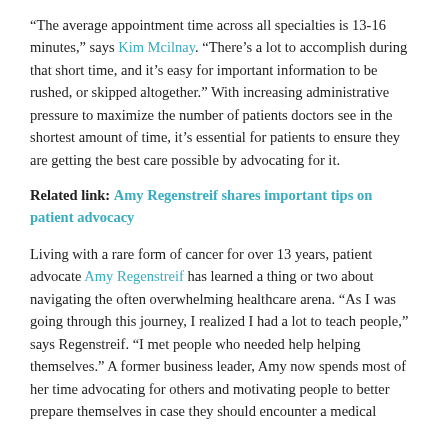“The average appointment time across all specialties is 13-16 minutes,” says Kim Mcilnay. “There’s a lot to accomplish during that short time, and it’s easy for important information to be rushed, or skipped altogether.” With increasing administrative pressure to maximize the number of patients doctors see in the shortest amount of time, it’s essential for patients to ensure they are getting the best care possible by advocating for it.
Related link: Amy Regenstreif shares important tips on patient advocacy
Living with a rare form of cancer for over 13 years, patient advocate Amy Regenstreif has learned a thing or two about navigating the often overwhelming healthcare arena. “As I was going through this journey, I realized I had a lot to teach people,” says Regenstreif. “I met people who needed help helping themselves.” A former business leader, Amy now spends most of her time advocating for others and motivating people to better prepare themselves in case they should encounter a medical